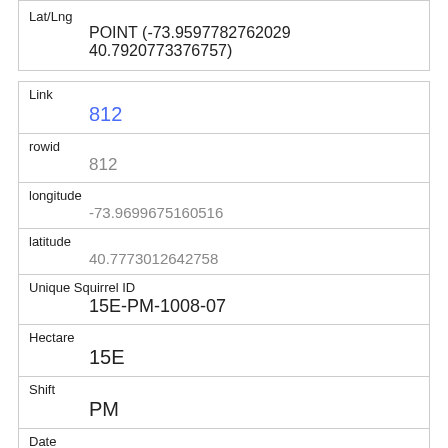| Lat/Lng | POINT (-73.9597782762029 40.7920773376757) |
| Link | 812 |
| rowid | 812 |
| longitude | -73.9699675160516 |
| latitude | 40.7773012642758 |
| Unique Squirrel ID | 15E-PM-1008-07 |
| Hectare | 15E |
| Shift | PM |
| Date | 10082018 |
| Hectare Squirrel Number | 7 |